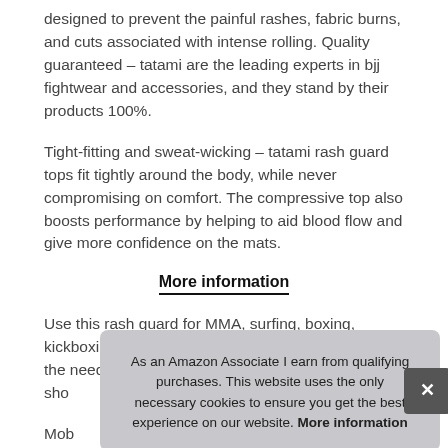designed to prevent the painful rashes, fabric burns, and cuts associated with intense rolling. Quality guaranteed – tatami are the leading experts in bjj fightwear and accessories, and they stand by their products 100%.
Tight-fitting and sweat-wicking – tatami rash guard tops fit tightly around the body, while never compromising on comfort. The compressive top also boosts performance by helping to aid blood flow and give more confidence on the mats.
More information
Use this rash guard for MMA, surfing, boxing, kickboxing, and so much more. If you feel you have the need to return any item, sho...
Mob... elastic polyester-spandex fabric blend, this short-sleeve rash
As an Amazon Associate I earn from qualifying purchases. This website uses the only necessary cookies to ensure you get the best experience on our website. More information